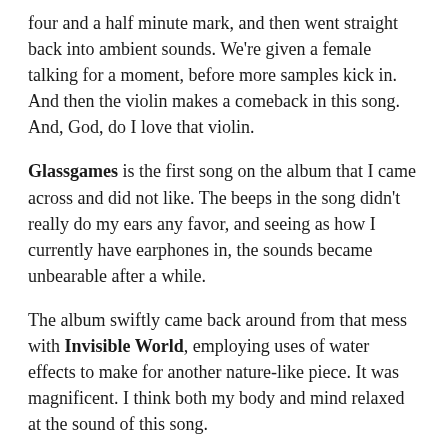four and a half minute mark, and then went straight back into ambient sounds. We're given a female talking for a moment, before more samples kick in. And then the violin makes a comeback in this song. And, God, do I love that violin.
Glassgames is the first song on the album that I came across and did not like. The beeps in the song didn't really do my ears any favor, and seeing as how I currently have earphones in, the sounds became unbearable after a while.
The album swiftly came back around from that mess with Invisible World, employing uses of water effects to make for another nature-like piece. It was magnificent. I think both my body and mind relaxed at the sound of this song.
Air Sanctuary came around, and showed off a more spiritual like track. With the whispers of what sounds like a cult in worship, the sounds of wind breezing, it was a wonder to behold. Wind chimes even make an appearance, and choral effects brush in from the left speaker to the right. This song right after the previous made me melt as I lay typing.
With some lethargy sweeping over me, I flickered myself